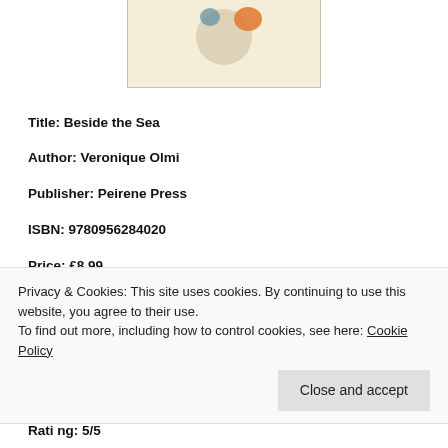[Figure (photo): Book cover image for 'Beside the Sea' partially visible at top, showing an illustrated scene with a figure and coastal imagery, cream background]
Title: Beside the Sea
Author: Veronique Olmi
Publisher: Peirene Press
ISBN: 9780956284020
Price: £8.99
Source: Publisher
Genre: Translated Work, French Fiction, Novella, Literary Fiction
PP: 111 Pages
Rating: 5/5
Privacy & Cookies: This site uses cookies. By continuing to use this website, you agree to their use.
To find out more, including how to control cookies, see here: Cookie Policy
Close and accept